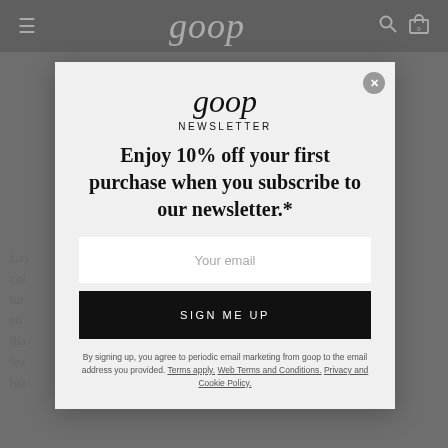goop
goop NEWSLETTER
Enjoy 10% off your first purchase when you subscribe to our newsletter.*
Your email
SIGN ME UP
By signing up, you agree to periodic email marketing from goop to the email address you provided. Terms apply. Web Terms and Conditions. Privacy and Cookie Policy.